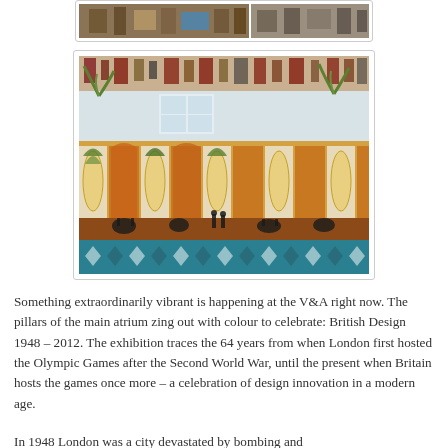[Figure (photo): Top strip showing partial photo of museum interior with display cases and objects]
[Figure (photo): Large photograph of a colorful textile or mural displayed in a museum gallery, featuring orange, green, blue and brown abstract/decorative patterns with stylized plants, animals and geometric designs. The reflection of the gallery space is visible on the glass covering the exhibit.]
Something extraordinarily vibrant is happening at the V&A right now. The pillars of the main atrium zing out with colour to celebrate: British Design 1948 – 2012. The exhibition traces the 64 years from when London first hosted the Olympic Games after the Second World War, until the present when Britain hosts the games once more – a celebration of design innovation in a modern age.
In 1948 London was a city devastated by bombing and